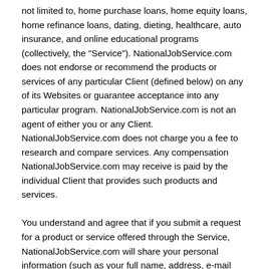not limited to, home purchase loans, home equity loans, home refinance loans, dating, dieting, healthcare, auto insurance, and online educational programs (collectively, the "Service"). NationalJobService.com does not endorse or recommend the products or services of any particular Client (defined below) on any of its Websites or guarantee acceptance into any particular program. NationalJobService.com is not an agent of either you or any Client. NationalJobService.com does not charge you a fee to research and compare services. Any compensation NationalJobService.com may receive is paid by the individual Client that provides such products and services.
You understand and agree that if you submit a request for a product or service offered through the Service, NationalJobService.com will share your personal information (such as your full name, address, e-mail address, social security number, telephone number, and any other information you provided or permitted us to obtain and disclose) with any Clients in our network, including but not limited to banks, correspondent lenders, mortgage bankers, brokers, dieting and healthcare providers, insurances agents, and online education